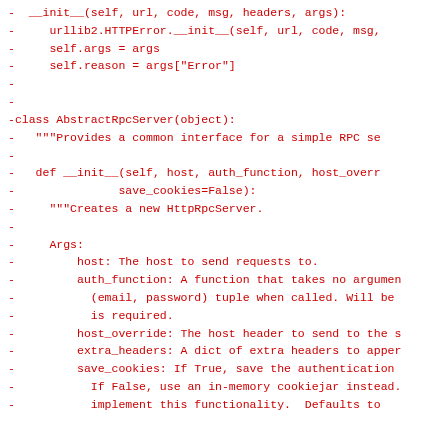- urllib2.HTTPError.__init__(self, url, code, msg,
-     self.args = args
-     self.reason = args["Error"]
-
-
-class AbstractRpcServer(object):
-   """Provides a common interface for a simple RPC se
-
-   def __init__(self, host, auth_function, host_overr
-               save_cookies=False):
-     """Creates a new HttpRpcServer.
-
-     Args:
-         host: The host to send requests to.
-         auth_function: A function that takes no argumen
-           (email, password) tuple when called. Will be
-           is required.
-         host_override: The host header to send to the s
-         extra_headers: A dict of extra headers to apper
-         save_cookies: If True, save the authentication
-           If False, use an in-memory cookiejar instead.
-           implement this functionality.  Defaults to